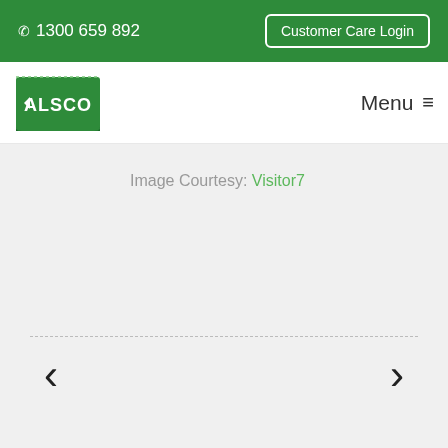📞 1300 659 892   Customer Care Login
[Figure (logo): Alsco logo - green folded card with white Alsco text]
Menu ≡
Image Courtesy: Visitor7